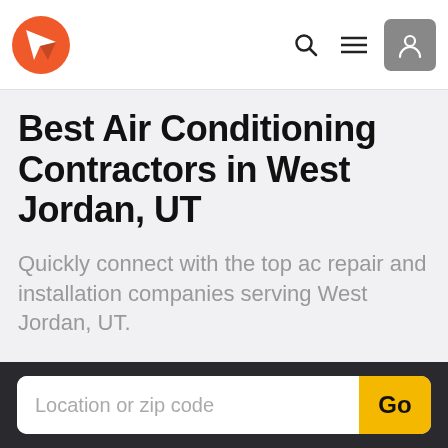[Figure (logo): Red and white angular logo icon on white navbar background]
Best Air Conditioning Contractors in West Jordan, UT
Quickly connect with the top ac repair and installation companies serving West Jordan, UT.
Request Free Quotes
Location or zip code
Go